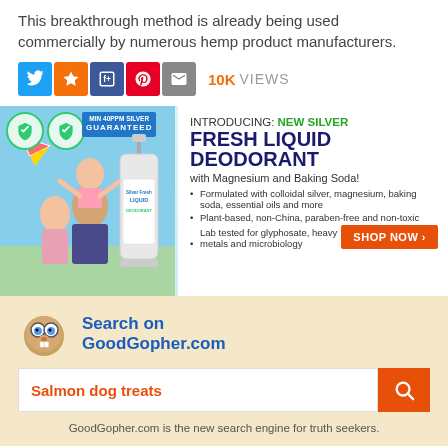This breakthrough method is already being used commercially by numerous hemp product manufacturers.
[Figure (infographic): Social sharing buttons (Twitter, Favorites, Share, Pinterest, Email) with 10K VIEWS count]
[Figure (infographic): Advertisement banner: INTRODUCING: NEW SILVER FRESH LIQUID DEODORANT with Magnesium and Baking Soda! Formulated with colloidal silver, magnesium, baking soda, essential oils and more. Plant-based, non-China, paraben-free and non-toxic. Lab tested for glyphosate, heavy metals and microbiology. SHOP NOW button.]
[Figure (infographic): GoodGopher.com search widget with gopher mascot, search bar showing 'Salmon dog treats' and caption: GoodGopher.com is the new search engine for truth seekers.]